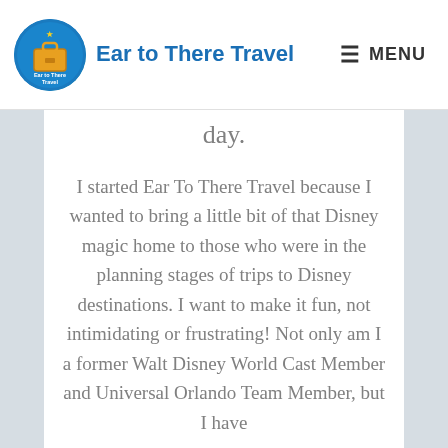Ear to There Travel | MENU
day.
I started Ear To There Travel because I wanted to bring a little bit of that Disney magic home to those who were in the planning stages of trips to Disney destinations. I want to make it fun, not intimidating or frustrating! Not only am I a former Walt Disney World Cast Member and Universal Orlando Team Member, but I have